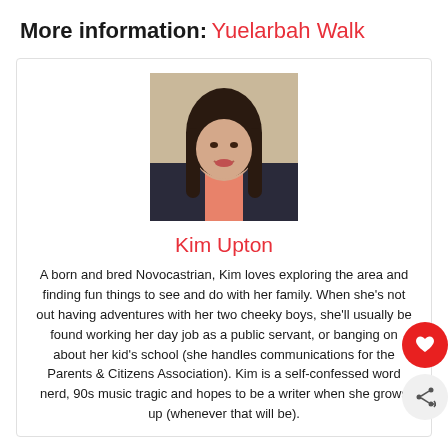More information: Yuelarbah Walk
[Figure (photo): Profile photo of Kim Upton — a young woman with long dark hair, smiling, wearing a floral top]
Kim Upton
A born and bred Novocastrian, Kim loves exploring the area and finding fun things to see and do with her family. When she's not out having adventures with her two cheeky boys, she'll usually be found working her day job as a public servant, or banging on about her kid's school (she handles communications for the Parents & Citizens Association). Kim is a self-confessed word nerd, 90s music tragic and hopes to be a writer when she grows up (whenever that will be).